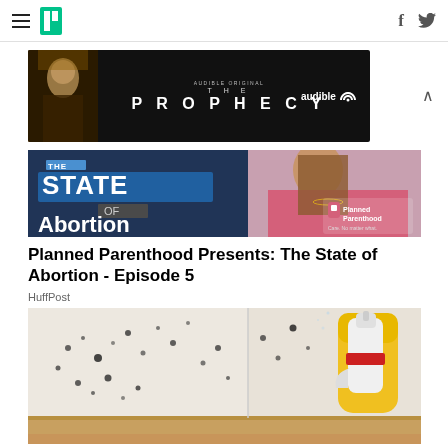HuffPost navigation with hamburger menu and social icons (Facebook, Twitter)
[Figure (photo): Audible Original 'The Prophecy' advertisement banner with dark background, character silhouette on left, and Audible logo on right]
[Figure (photo): Planned Parenthood 'The State of Abortion' episode image showing text overlay on blue background with a woman in pink on the right]
Planned Parenthood Presents: The State of Abortion - Episode 5
HuffPost
[Figure (photo): Photo of a person in yellow rubber gloves spraying cleaning solution on a mold-covered wall corner]